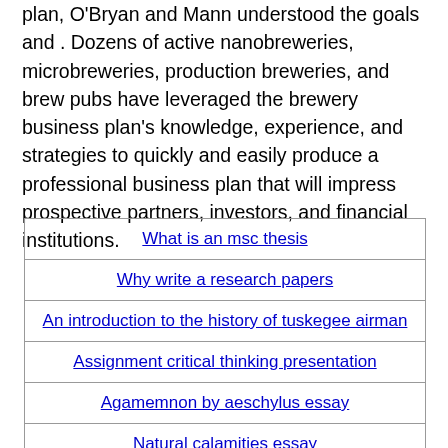plan, O'Bryan and Mann understood the goals and . Dozens of active nanobreweries, microbreweries, production breweries, and brew pubs have leveraged the brewery business plan's knowledge, experience, and strategies to quickly and easily produce a professional business plan that will impress prospective partners, investors, and financial institutions.
| What is an msc thesis |
| Why write a research papers |
| An introduction to the history of tuskegee airman |
| Assignment critical thinking presentation |
| Agamemnon by aeschylus essay |
| Natural calamities essay |